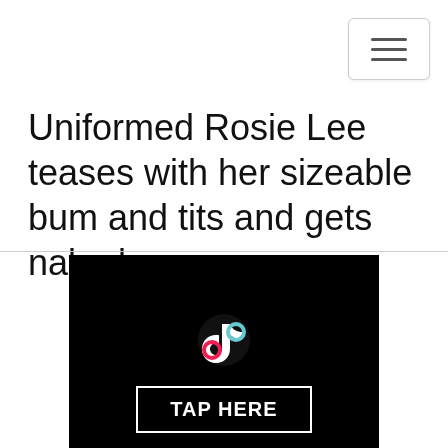Uniformed Rosie Lee teases with her sizeable bum and tits and gets naked
[Figure (other): Advertisement banner with TikTok icon and TAP HERE button on black background, with 'Ads by JuicyAds' text below]
[Figure (photo): Woman in pink dress and coral cardigan with pink hat sitting on a purple background]